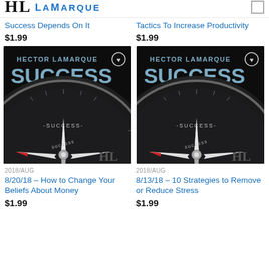[Figure (screenshot): Partial top header bar showing HL logo and LaMarque branding in blue]
Success Depends On It
$1.99
Tactics To Increase Productivity
$1.99
[Figure (photo): Hector LaMarque Success Podcast cover art with compass pointing to SUCCESS on black background, HL initials at bottom right]
[Figure (photo): Hector LaMarque Success Podcast cover art with compass pointing to SUCCESS on black background, HL initials at bottom right]
2018/AUG
8/20/18 – How to Change Your Beliefs About Money
$1.99
2018/AUG
8/13/18 – 10 Strategies to Remove or Reduce Stress
$1.99